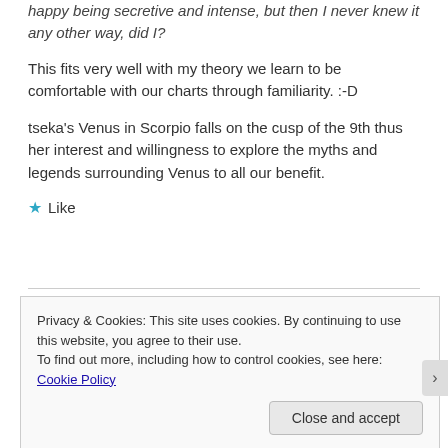happy being secretive and intense, but then I never knew it any other way, did I?
This fits very well with my theory we learn to be comfortable with our charts through familiarity. :-D
tseka's Venus in Scorpio falls on the cusp of the 9th thus her interest and willingness to explore the myths and legends surrounding Venus to all our benefit.
Like
Privacy & Cookies: This site uses cookies. By continuing to use this website, you agree to their use.
To find out more, including how to control cookies, see here: Cookie Policy
Close and accept